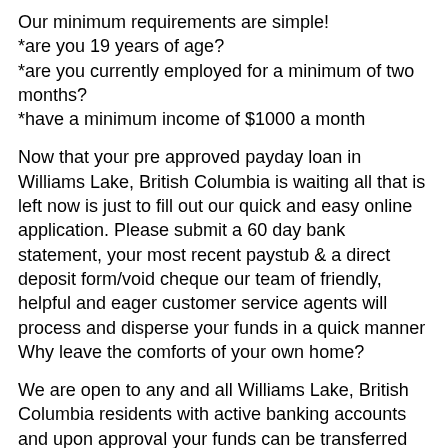Our minimum requirements are simple!
*are you 19 years of age?
*are you currently employed for a minimum of two months?
*have a minimum income of $1000 a month
Now that your pre approved payday loan in Williams Lake, British Columbia is waiting all that is left now is just to fill out our quick and easy online application. Please submit a 60 day bank statement, your most recent paystub & a direct deposit form/void cheque our team of friendly, helpful and eager customer service agents will process and disperse your funds in a quick manner Why leave the comforts of your own home?
We are open to any and all Williams Lake, British Columbia residents with active banking accounts and upon approval your funds can be transferred through electronic wire transfer or even faster reliable email money transfer.
If you were to have any questions or concerns our team will